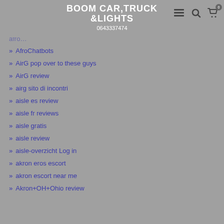BOOM CAR,TRUCK &LIGHTS 0643337474
AfroChatbots
AirG pop over to these guys
AirG review
airg sito di incontri
aisle es review
aisle fr reviews
aisle gratis
aisle review
aisle-overzicht Log in
akron eros escort
akron escort near me
Akron+OH+Ohio review